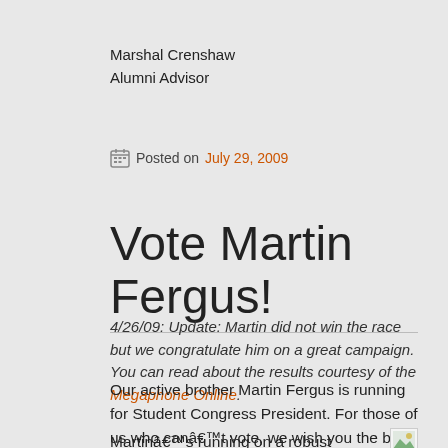Marshal Crenshaw
Alumni Advisor
Posted on July 29, 2009
Vote Martin Fergus!
4/26/09: Update: Martin did not win the race but we congratulate him on a great campaign. You can read about the results courtesy of the Megaphone Online.
Our active brother Martin Fergus is running for Student Congress President. For those of us who canâ€™t vote, we wish you the best of luck on election day, April 8, 2009!
Martinâ€™s running on a robust platformâ€¦